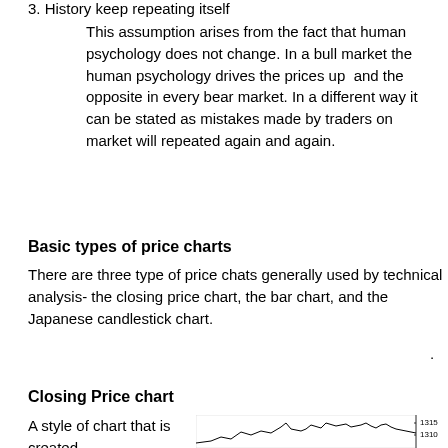3. History keep repeating itself

This assumption arises from the fact that human psychology does not change. In a bull market the human psychology drives the prices up and the opposite in every bear market. In a different way it can be stated as mistakes made by traders on market will repeated again and again.
Basic types of price charts
There are three type of price chats generally used by technical analysis- the closing price chart, the bar chart, and the Japanese candlestick chart.
Closing Price chart
A style of chart that is created
[Figure (continuous-plot): Closing price chart showing price fluctuations with y-axis values around 1310-1315]